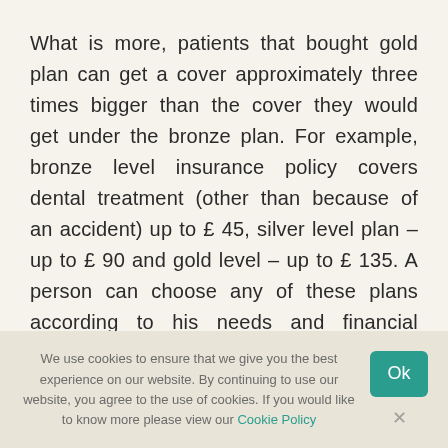What is more, patients that bought gold plan can get a cover approximately three times bigger than the cover they would get under the bronze plan. For example, bronze level insurance policy covers dental treatment (other than because of an accident) up to £ 45, silver level plan – up to £ 90 and gold level – up to £ 135. A person can choose any of these plans according to his needs and financial ability to make monthly payments.
We use cookies to ensure that we give you the best experience on our website. By continuing to use our website, you agree to the use of cookies. If you would like to know more please view our Cookie Policy